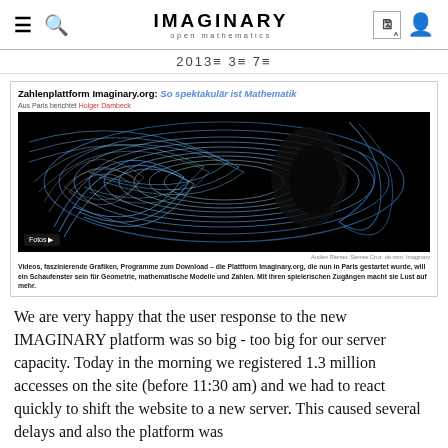IMAGINARY open mathematics
2013≡ 3≡ 7≡
[Figure (screenshot): Screenshot of a news article from a German publication showing a swirling blue mathematical visualization. Article title: 'Zahlenplattform Imaginary.org: So spektakulär ist Mathematik'. Byline: 'Aus Paris berichtet Holger Dambeck'. Image shows swirling blue and white lines on black background. Caption below image in German describes the Imaginary.org platform.]
We are very happy that the user response to the new IMAGINARY platform was so big - too big for our server capacity. Today in the morning we registered 1.3 million accesses on the site (before 11:30 am) and we had to react quickly to shift the website to a new server. This caused several delays and also the platform was